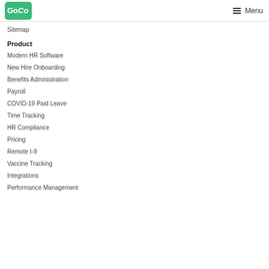GoCo | Menu
Sitemap
Product
Modern HR Software
New Hire Onboarding
Benefits Administration
Payroll
COVID-19 Paid Leave
Time Tracking
HR Compliance
Pricing
Remote I-9
Vaccine Tracking
Integrations
Performance Management